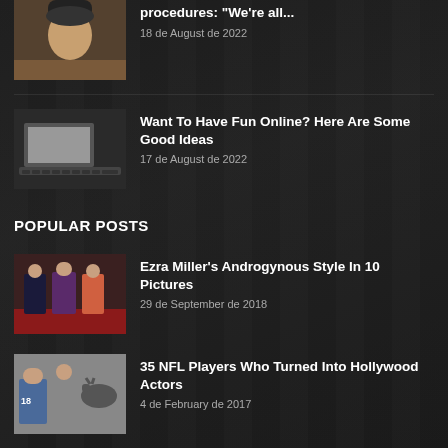[Figure (photo): Thumbnail photo of a man with a beanie hat]
procedures: "We're all..."
18 de August de 2022
[Figure (photo): Thumbnail photo of a laptop computer keyboard close-up]
Want To Have Fun Online? Here Are Some Good Ideas
17 de August de 2022
POPULAR POSTS
[Figure (photo): Thumbnail photo of Ezra Miller with others on a red carpet]
Ezra Miller's Androgynous Style In 10 Pictures
29 de September de 2018
[Figure (photo): Thumbnail photo showing NFL players and old Hollywood actors]
35 NFL Players Who Turned Into Hollywood Actors
4 de February de 2017
[Figure (photo): Thumbnail photo partially visible at the bottom]
Happy Love Your Pet Day! 30 Surprisingly